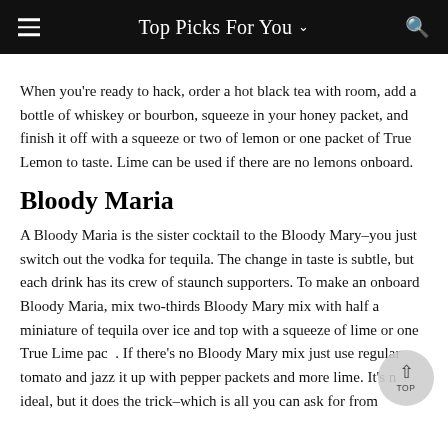Top Picks For You
When you're ready to hack, order a hot black tea with room, add a bottle of whiskey or bourbon, squeeze in your honey packet, and finish it off with a squeeze or two of lemon or one packet of True Lemon to taste. Lime can be used if there are no lemons onboard.
Bloody Maria
A Bloody Maria is the sister cocktail to the Bloody Mary–you just switch out the vodka for tequila. The change in taste is subtle, but each drink has its crew of staunch supporters. To make an onboard Bloody Maria, mix two-thirds Bloody Mary mix with half a miniature of tequila over ice and top with a squeeze of lime or one True Lime pack. If there's no Bloody Mary mix just use regular tomato and jazz it up with pepper packets and more lime. It's not ideal, but it does the trick–which is all you can ask for from